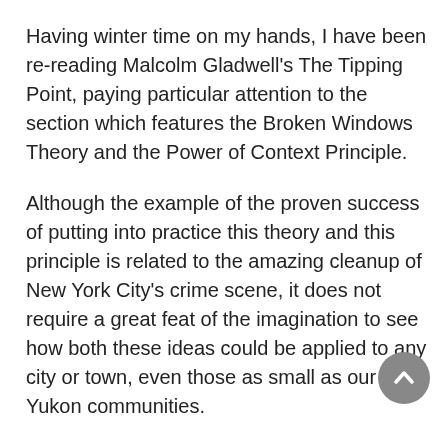Having winter time on my hands, I have been re-reading Malcolm Gladwell's The Tipping Point, paying particular attention to the section which features the Broken Windows Theory and the Power of Context Principle.
Although the example of the proven success of putting into practice this theory and this principle is related to the amazing cleanup of New York City's crime scene, it does not require a great feat of the imagination to see how both these ideas could be applied to any city or town, even those as small as our Yukon communities.
The Broken Windows Theory was the brainchild of criminologists James Q. Wilson and George Kelling who maintained that crime was the inevitable result of disorder.